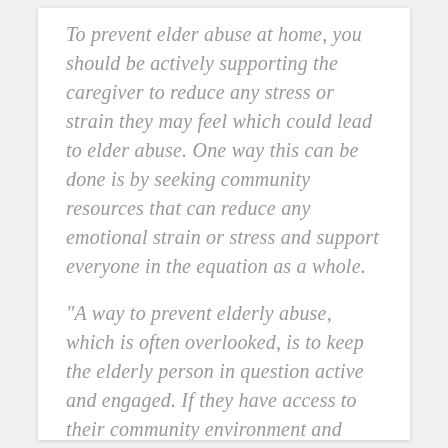To prevent elder abuse at home, you should be actively supporting the caregiver to reduce any stress or strain they may feel which could lead to elder abuse. One way this can be done is by seeking community resources that can reduce any emotional strain or stress and support everyone in the equation as a whole.
“A way to prevent elderly abuse, which is often overlooked, is to keep the elderly person in question active and engaged. If they have access to their community environment and